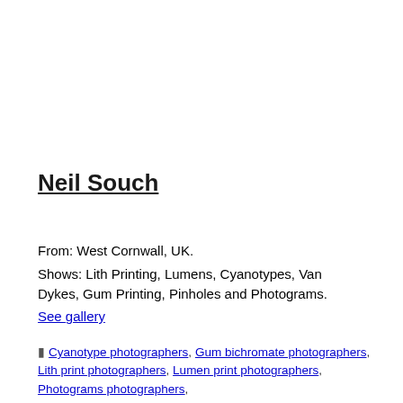Neil Souch
From: West Cornwall, UK.
Shows: Lith Printing, Lumens, Cyanotypes, Van Dykes, Gum Printing, Pinholes and Photograms.
See gallery
Cyanotype photographers, Gum bichromate photographers, Lith print photographers, Lumen print photographers, Photograms photographers,